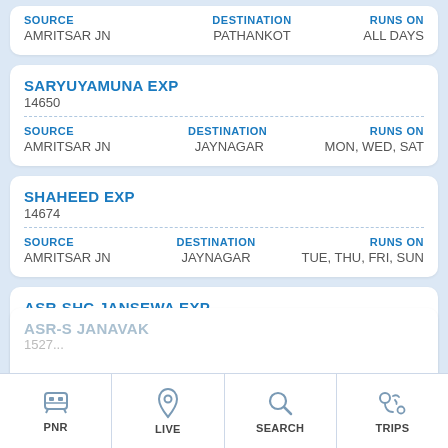| SOURCE | DESTINATION | RUNS ON |
| --- | --- | --- |
| AMRITSAR JN | PATHANKOT | ALL DAYS |
SARYUYAMUNA EXP
14650
| SOURCE | DESTINATION | RUNS ON |
| --- | --- | --- |
| AMRITSAR JN | JAYNAGAR | MON, WED, SAT |
SHAHEED EXP
14674
| SOURCE | DESTINATION | RUNS ON |
| --- | --- | --- |
| AMRITSAR JN | JAYNAGAR | TUE, THU, FRI, SUN |
ASR-SHC JANSEWA EXP
15210
| SOURCE | DESTINATION | RUNS ON |
| --- | --- | --- |
| AMRITSAR JN | SAHARSA JN | ALL DAYS |
ASR-S JAN...
1527...
PNR | LIVE | SEARCH | TRIPS